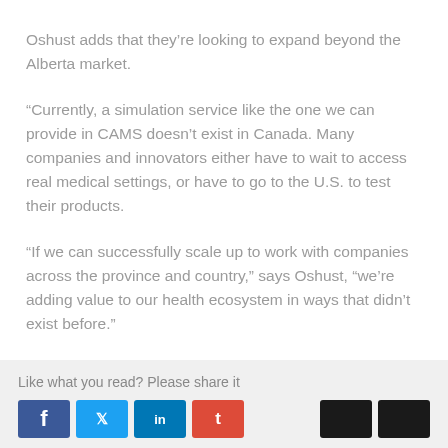Oshust adds that they’re looking to expand beyond the Alberta market.
“Currently, a simulation service like the one we can provide in CAMS doesn’t exist in Canada. Many companies and innovators either have to wait to access real medical settings, or have to go to the U.S. to test their products.
“If we can successfully scale up to work with companies across the province and country,” says Oshust, “we’re adding value to our health ecosystem in ways that didn’t exist before.”
Like what you read? Please share it